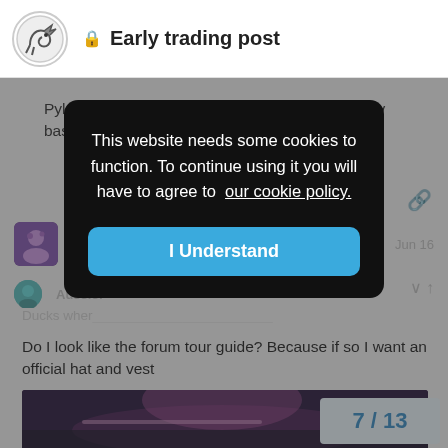Early trading post
Pylon is a great tower. It often kills dragons on my base. Its a nice add to an island with lightnings.
[Figure (screenshot): Cookie consent modal overlay with text: This website needs some cookies to function. To continue using it you will have to agree to our cookie policy. Button: I Understand]
ZeroDu | Duck He | Jun 16
Aussie: | Ducks wher
Do I look like the forum tour guide? Because if so I want an official hat and vest
[Figure (photo): Dark image partially visible at bottom of page]
7 / 13